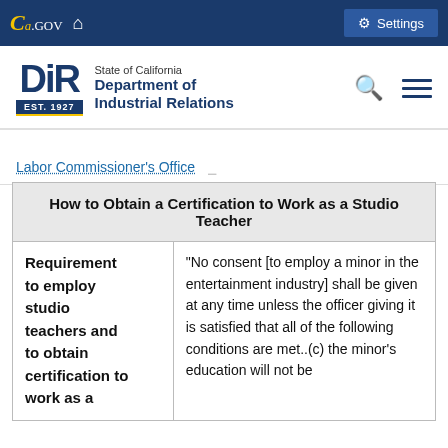CA.GOV | Settings
[Figure (logo): DIR - State of California Department of Industrial Relations logo with EST. 1927]
Labor Commissioner's Office
| How to Obtain a Certification to Work as a Studio Teacher |
| --- |
| Requirement to employ studio teachers and to obtain certification to work as a | "No consent [to employ a minor in the entertainment industry] shall be given at any time unless the officer giving it is satisfied that all of the following conditions are met..(c) the minor's education will not be |